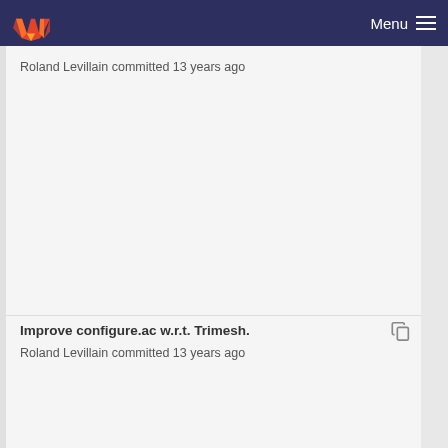Menu
Roland Levillain committed 13 years ago
Improve configure.ac w.r.t. Trimesh.
Roland Levillain committed 13 years ago